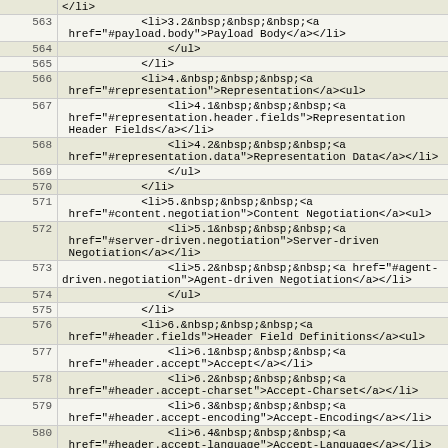| line | code |
| --- | --- |
|  | </li> |
| 563 | <li>3.2&nbsp;&nbsp;&nbsp;<a href="#payload.body">Payload Body</a></li> |
| 564 | </ul> |
| 565 | </li> |
| 566 | <li>4.&nbsp;&nbsp;&nbsp;<a href="#representation">Representation</a><ul> |
| 567 | <li>4.1&nbsp;&nbsp;&nbsp;<a href="#representation.header.fields">Representation Header Fields</a></li> |
| 568 | <li>4.2&nbsp;&nbsp;&nbsp;<a href="#representation.data">Representation Data</a></li> |
| 569 | </ul> |
| 570 | </li> |
| 571 | <li>5.&nbsp;&nbsp;&nbsp;<a href="#content.negotiation">Content Negotiation</a><ul> |
| 572 | <li>5.1&nbsp;&nbsp;&nbsp;<a href="#server-driven.negotiation">Server-driven Negotiation</a></li> |
| 573 | <li>5.2&nbsp;&nbsp;&nbsp;<a href="#agent-driven.negotiation">Agent-driven Negotiation</a></li> |
| 574 | </ul> |
| 575 | </li> |
| 576 | <li>6.&nbsp;&nbsp;&nbsp;<a href="#header.fields">Header Field Definitions</a><ul> |
| 577 | <li>6.1&nbsp;&nbsp;&nbsp;<a href="#header.accept">Accept</a></li> |
| 578 | <li>6.2&nbsp;&nbsp;&nbsp;<a href="#header.accept-charset">Accept-Charset</a></li> |
| 579 | <li>6.3&nbsp;&nbsp;&nbsp;<a href="#header.accept-encoding">Accept-Encoding</a></li> |
| 580 | <li>6.4&nbsp;&nbsp;&nbsp;<a href="#header.accept-language">Accept-Language</a></li> |
| 581 | <li>6.5&nbsp;&nbsp;&nbsp;<a href="#header.accept-... |